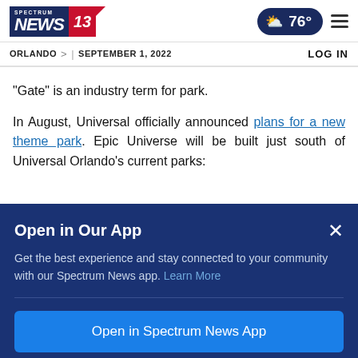Spectrum News 13 | 76° | Orlando | September 1, 2022 | LOG IN
"Gate" is an industry term for park.
In August, Universal officially announced plans for a new theme park. Epic Universe will be built just south of Universal Orlando's current parks:
Open in Our App
Get the best experience and stay connected to your community with our Spectrum News app. Learn More
Open in Spectrum News App
Continue in Browser